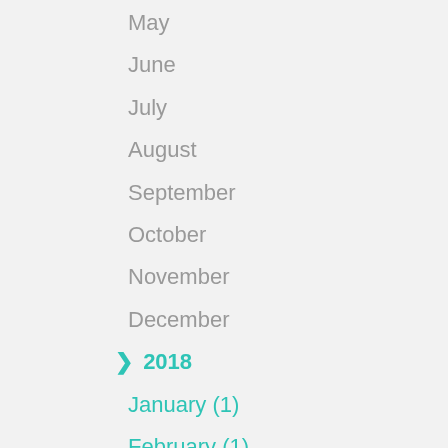May
June
July
August
September
October
November
December
❯ 2018
January (1)
February (1)
March (1)
April (1)
May